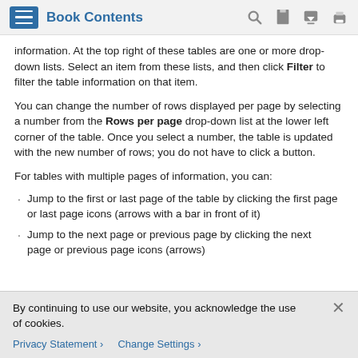Book Contents
information. At the top right of these tables are one or more drop-down lists. Select an item from these lists, and then click Filter to filter the table information on that item.
You can change the number of rows displayed per page by selecting a number from the Rows per page drop-down list at the lower left corner of the table. Once you select a number, the table is updated with the new number of rows; you do not have to click a button.
For tables with multiple pages of information, you can:
Jump to the first or last page of the table by clicking the first page or last page icons (arrows with a bar in front of it)
Jump to the next page or previous page by clicking the next page or previous page icons (arrows)
By continuing to use our website, you acknowledge the use of cookies.
Privacy Statement > Change Settings >